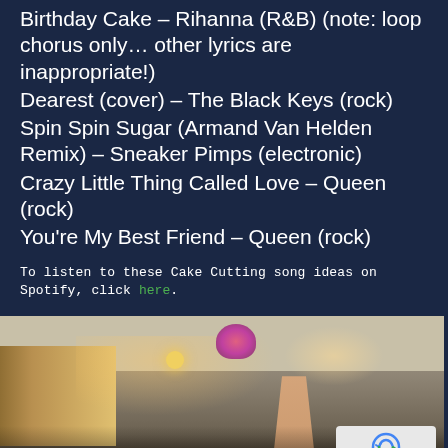Birthday Cake – Rihanna (R&B) (note: loop chorus only… other lyrics are inappropriate!)
Dearest (cover) – The Black Keys (rock)
Spin Spin Sugar (Armand Van Helden Remix) – Sneaker Pimps (electronic)
Crazy Little Thing Called Love – Queen (rock)
You're My Best Friend – Queen (rock)
To listen to these Cake Cutting song ideas on Spotify, click here.
[Figure (photo): Photo of people at a wedding or party venue, with someone tossing a bouquet in the air. A raised arm is visible. A reCAPTCHA privacy badge is overlaid in the bottom right corner.]